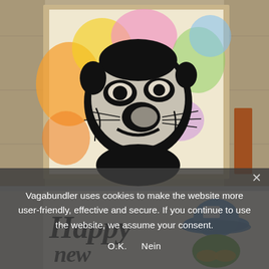[Figure (photo): A stencil-style black and white artwork of a pug dog face on a colorful pastel rainbow spray-painted background (orange, yellow, pink, green, blue), placed on a wooden surface with other art materials visible at right edge.]
[Figure (illustration): A hand-drawn illustration partially visible showing the word 'Happy' in graffiti-style lettering (dark ink) on the left, and a cartoon frog or creature wearing a blue hat on the right, on white paper.]
Vagabundler uses cookies to make the website more user-friendly, effective and secure. If you continue to use the website, we assume your consent.
O.K.   Nein